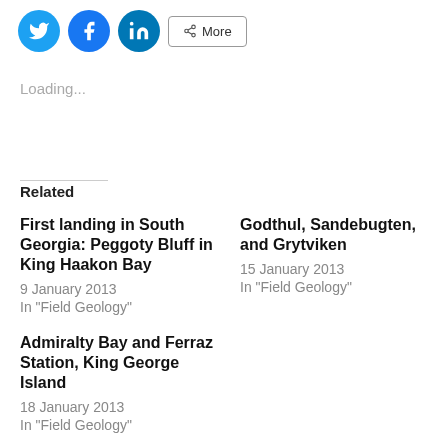[Figure (screenshot): Social media sharing bar with Twitter, Facebook, LinkedIn circle icon buttons and a More button]
Loading...
Related
First landing in South Georgia: Peggoty Bluff in King Haakon Bay
9 January 2013
In "Field Geology"
Godthul, Sandebugten, and Grytviken
15 January 2013
In "Field Geology"
Admiralty Bay and Ferraz Station, King George Island
18 January 2013
In "Field Geology"